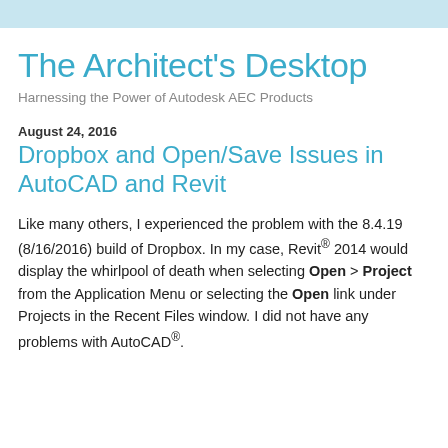The Architect's Desktop
Harnessing the Power of Autodesk AEC Products
August 24, 2016
Dropbox and Open/Save Issues in AutoCAD and Revit
Like many others, I experienced the problem with the 8.4.19 (8/16/2016) build of Dropbox. In my case, Revit® 2014 would display the whirlpool of death when selecting Open > Project from the Application Menu or selecting the Open link under Projects in the Recent Files window. I did not have any problems with AutoCAD®.